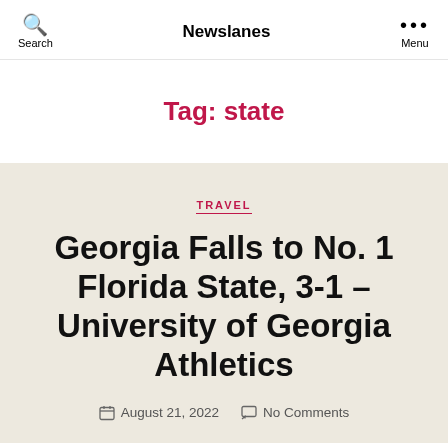Newslanes
Tag: state
TRAVEL
Georgia Falls to No. 1 Florida State, 3-1 – University of Georgia Athletics
August 21, 2022   No Comments